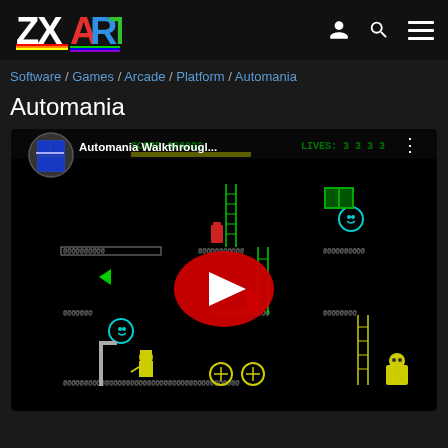ZX Art - navigation header with logo, user icon, search icon, menu icon
Software / Games / Arcade / Platform / Automania
Automania
[Figure (screenshot): YouTube video embed thumbnail showing Automania ZX Spectrum game walkthrough. The video thumbnail displays a colourful ZX Spectrum platform game scene with ladders, platforms, and characters. A red YouTube play button is shown in the center. The video title overlay reads 'Automania Walkthrougl...']